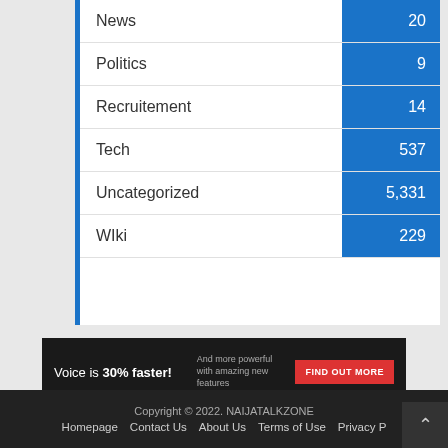| Category | Count |
| --- | --- |
| News | 20 |
| Politics | 9 |
| Recruitement | 14 |
| Tech | 537 |
| Uncategorized | 5,331 |
| WIki | 229 |
Voice is 30% faster! And more powerful with amazing new features. FIND OUT MORE
Copyright © 2022. NAIJATALKZONE
Homepage   Contact Us   About Us   Terms of Use   Privacy P…